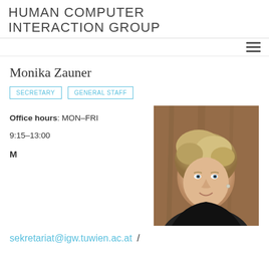HUMAN COMPUTER INTERACTION GROUP
Monika Zauner
SECRETARY
GENERAL STAFF
Office hours: MON–FRI
9:15–13:00
M
[Figure (photo): Portrait photo of Monika Zauner, a woman with blonde curly hair, smiling, photographed against a wooden background.]
sekretariat@igw.tuwien.ac.at /